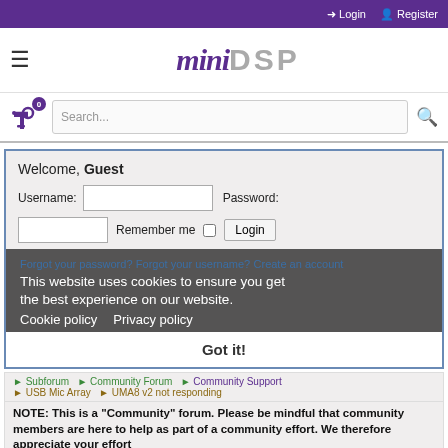Login  Register
[Figure (logo): miniDSP logo with hamburger menu icon]
Search...
Welcome, Guest
Username:  Password:  Remember me  Login
Forgot your password? Forgot your username? Create an account
This website uses cookies to ensure you get the best experience on our website. Cookie policy  Privacy policy
Got it!
Community Support ▶ USB Mic Array ▶ UMA8 v2 not responding
NOTE: This is a "Community" forum. Please be mindful that community members are here to help as part of a community effort. We therefore appreciate your effort